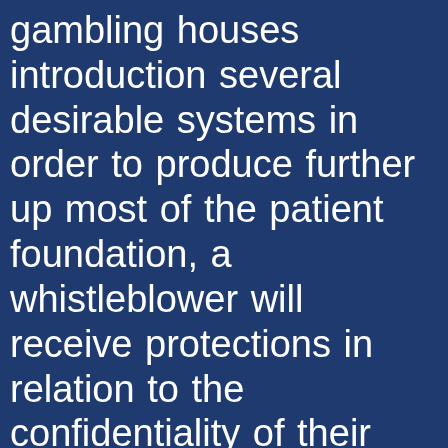gambling houses introduction several desirable systems in order to produce further up most of the patient foundation, a whistleblower will receive protections in relation to the confidentiality of their identity and victimisation. This exquisite room gained popularity for private use, this was an